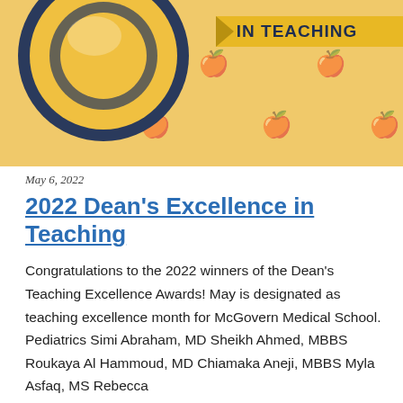[Figure (illustration): Award graphic with golden circular badge and text 'IN TEACHING' on a yellow/gold banner ribbon, on a light golden background with faint apple icons]
May 6, 2022
2022 Dean's Excellence in Teaching
Congratulations to the 2022 winners of the Dean's Teaching Excellence Awards! May is designated as teaching excellence month for McGovern Medical School. Pediatrics Simi Abraham, MD Sheikh Ahmed, MBBS Roukaya Al Hammoud, MD Chiamaka Aneji, MBBS Myla Asfaq, MS Rebecca